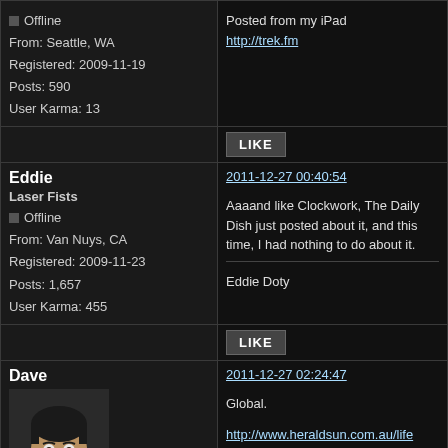| User Info | Post Content |
| --- | --- |
| Offline
From: Seattle, WA
Registered: 2009-11-19
Posts: 590
User Karma: 13 | Posted from my iPad
http://trek.fm

LIKE |
| Eddie
Laser Fists
Offline
From: Van Nuys, CA
Registered: 2009-11-23
Posts: 1,657
User Karma: 455 | 2011-12-27 00:40:54
Aaaand like Clockwork, The Daily Dish just posted about it, and this time, I had nothing to do about it.
Eddie Doty
LIKE |
| Dave
[avatar image]
Australian Correspondent | 2011-12-27 02:24:47
Global.
http://www.heraldsun.com.au/life… 6226629095 |